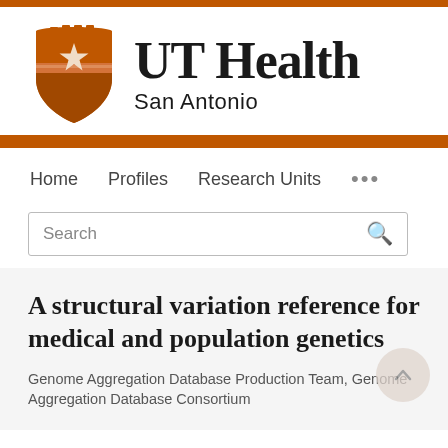[Figure (logo): UT Health San Antonio logo with orange shield bearing a white star on the left, and bold serif text 'UT Health' with sans-serif 'San Antonio' beneath on the right]
Home   Profiles   Research Units   ...
Search
A structural variation reference for medical and population genetics
Genome Aggregation Database Production Team, Genome Aggregation Database Consortium